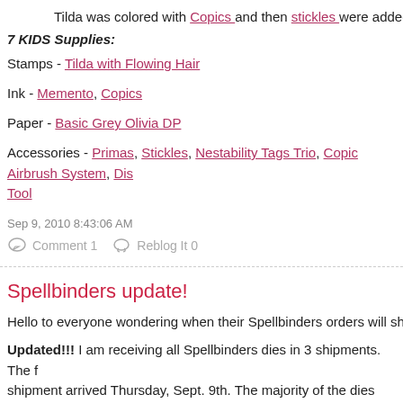Tilda was colored with Copics and then stickles were added to h
7 KIDS Supplies:
Stamps - Tilda with Flowing Hair
Ink - Memento, Copics
Paper - Basic Grey Olivia DP
Accessories - Primas, Stickles, Nestability Tags Trio, Copic Airbrush System, Dis Tool
Sep 9, 2010 8:43:06 AM
Comment 1   Reblog It 0
Spellbinders update!
Hello to everyone wondering when their Spellbinders orders will ship
Updated!!! I am receiving all Spellbinders dies in 3 shipments. The f shipment arrived Thursday, Sept. 9th. The majority of the dies are in so I will be able to process many of the preorders in their entirety. A s shipment is arriving on the 13th and the third is arriving on the 15th ( includes eyelet circles and squares and labels 16 & 17). Depending a